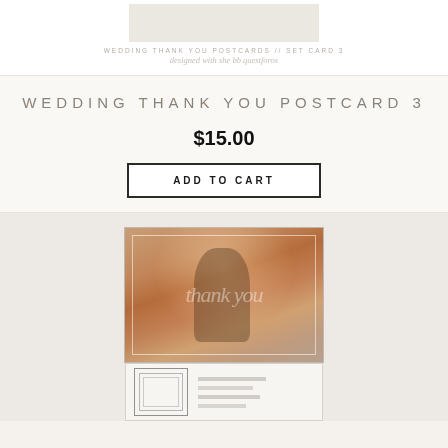[Figure (screenshot): Top product preview showing postcard thumbnail with small text labels]
WEDDING THANK YOU POSTCARDS // SET CARD 3
designed with she bb questforos
WEDDING THANK YOU POSTCARD 3
$15.00
ADD TO CART
[Figure (photo): Wedding couple photo - bride and groom standing at scenic canyon location, bride holding bouquet]
[Figure (screenshot): Template preview showing postcard back design with decorative frame and text lines]